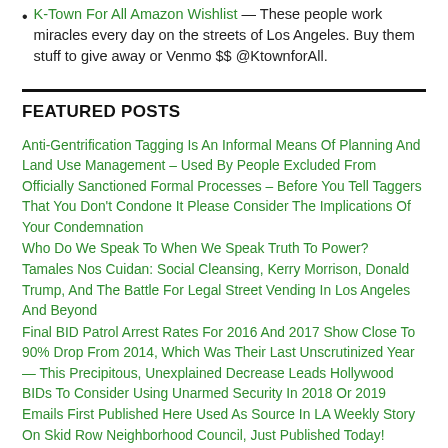K-Town For All Amazon Wishlist — These people work miracles every day on the streets of Los Angeles. Buy them stuff to give away or Venmo $$ @KtownforAll.
FEATURED POSTS
Anti-Gentrification Tagging Is An Informal Means Of Planning And Land Use Management – Used By People Excluded From Officially Sanctioned Formal Processes – Before You Tell Taggers That You Don't Condone It Please Consider The Implications Of Your Condemnation
Who Do We Speak To When We Speak Truth To Power?
Tamales Nos Cuidan: Social Cleansing, Kerry Morrison, Donald Trump, And The Battle For Legal Street Vending In Los Angeles And Beyond
Final BID Patrol Arrest Rates For 2016 And 2017 Show Close To 90% Drop From 2014, Which Was Their Last Unscrutinized Year — This Precipitous, Unexplained Decrease Leads Hollywood BIDs To Consider Using Unarmed Security In 2018 Or 2019
Emails First Published Here Used As Source In LA Weekly Story On Skid Row Neighborhood Council, Just Published Today!
VICTORY!! All Los Angeles BID Security Patrols To Register With Police Commission Per City Attorney, BID Patrol Excessive Force